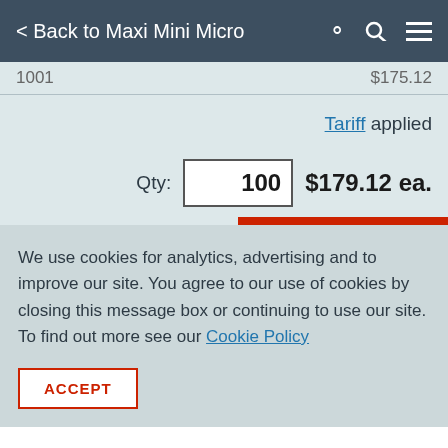< Back to Maxi Mini Micro
1001   $175.12
Tariff applied
Qty: 100   $179.12 ea.
We use cookies for analytics, advertising and to improve our site. You agree to our use of cookies by closing this message box or continuing to use our site. To find out more see our Cookie Policy
ACCEPT